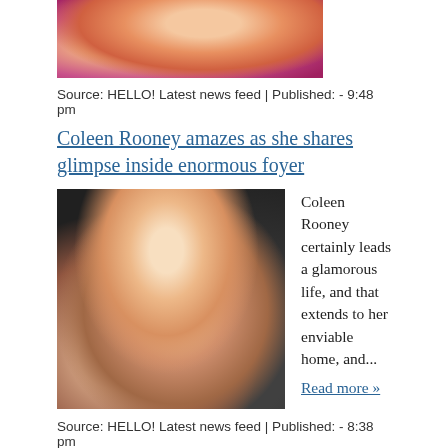[Figure (photo): Partial photo of a woman in pink/magenta clothing, cropped at top of page]
Source: HELLO! Latest news feed | Published: - 9:48 pm
Coleen Rooney amazes as she shares glimpse inside enormous foyer
[Figure (photo): Close-up portrait photo of Coleen Rooney wearing Chanel earrings and a black outfit]
Coleen Rooney certainly leads a glamorous life, and that extends to her enviable home, and... Read more »
Source: HELLO! Latest news feed | Published: - 8:38 pm
All you need to know about filming locations for The...